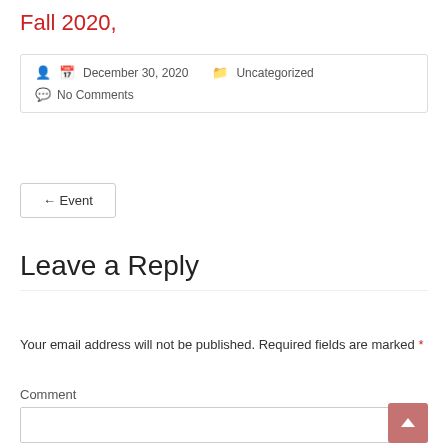Fall 2020,
December 30, 2020   Uncategorized   No Comments
← Event
Leave a Reply
Your email address will not be published. Required fields are marked *
Comment